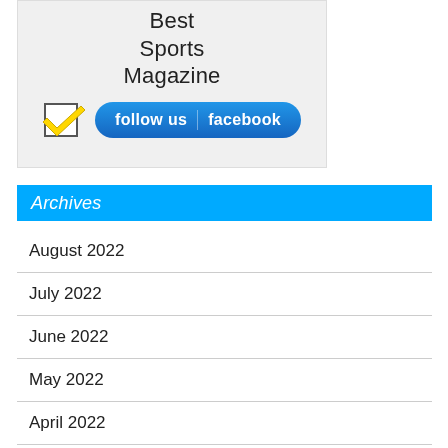[Figure (illustration): Advertisement banner for Bermuda's Best Sports Magazine with a yellow checkbox icon and a blue Facebook follow button reading 'follow us facebook']
Archives
August 2022
July 2022
June 2022
May 2022
April 2022
March 2022